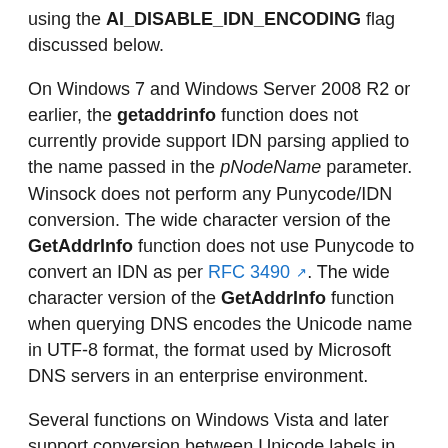using the AI_DISABLE_IDN_ENCODING flag discussed below.
On Windows 7 and Windows Server 2008 R2 or earlier, the getaddrinfo function does not currently provide support IDN parsing applied to the name passed in the pNodeName parameter. Winsock does not perform any Punycode/IDN conversion. The wide character version of the GetAddrInfo function does not use Punycode to convert an IDN as per RFC 3490. The wide character version of the GetAddrInfo function when querying DNS encodes the Unicode name in UTF-8 format, the format used by Microsoft DNS servers in an enterprise environment.
Several functions on Windows Vista and later support conversion between Unicode labels in an IDN to their ASCII equivalents. The resulting representation of each Unicode label contains only ASCII characters and starts with the xn-- prefix if the Unicode label contained any non-ASCII